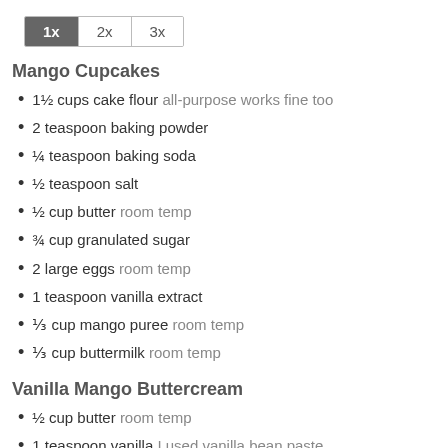1x 2x 3x (tab bar)
Mango Cupcakes
1½ cups cake flour all-purpose works fine too
2 teaspoon baking powder
¼ teaspoon baking soda
½ teaspoon salt
½ cup butter room temp
¾ cup granulated sugar
2 large eggs room temp
1 teaspoon vanilla extract
⅓ cup mango puree room temp
⅓ cup buttermilk room temp
Vanilla Mango Buttercream
½ cup butter room temp
1 teaspoon vanilla I used vanilla bean paste
pinch of salt
2 cups powdered sugar